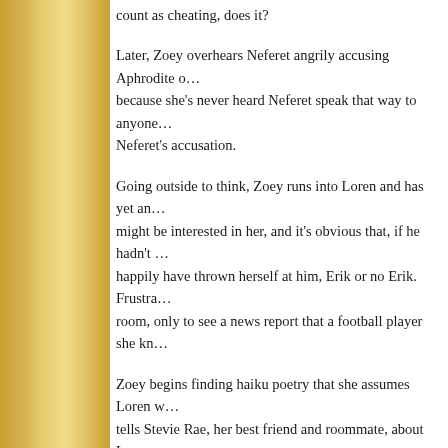Plus, if she doesn't think of him as her boyfriend, then this can't count as cheating, does it?
Later, Zoey overhears Neferet angrily accusing Aphrodite of something because she's never heard Neferet speak that way to anyone, Zoey is shocked by Neferet's accusation.
Going outside to think, Zoey runs into Loren and has yet another encounter. It's clear he might be interested in her, and it's obvious that, if he hadn't been there, she would have happily have thrown herself at him, Erik or no Erik. Frustrated, she returns to her dorm room, only to see a news report that a football player she kn...
Zoey begins finding haiku poetry that she assumes Loren wrote for her. She tells Stevie Rae, her best friend and roommate, about Loren. Stevie Rae suggests Zoey might want to try sneaking around and seeing Loren while still with Erik since Zoey's life is in so many other ways that maybe the usual rules don't apply and she can't just pretend to be normal. She doesn't know what to do about her guy situation.
Later on, Zoey comes across Aphrodite, who is having a vision about Zoey's Grandma Redbird, who, if something isn't done, will be killed in a car accident where she is damaged. Aphrodite agrees to give Zoey further details about the vision if Zoey protects her in the future. Zoey readily agrees. Knowing she can't jus...